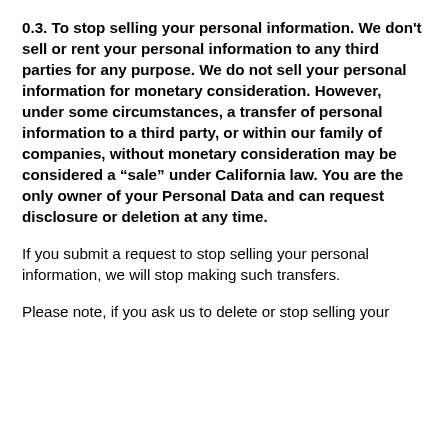0.3. To stop selling your personal information. We don't sell or rent your personal information to any third parties for any purpose. We do not sell your personal information for monetary consideration. However, under some circumstances, a transfer of personal information to a third party, or within our family of companies, without monetary consideration may be considered a “sale” under California law. You are the only owner of your Personal Data and can request disclosure or deletion at any time.
If you submit a request to stop selling your personal information, we will stop making such transfers.
Please note, if you ask us to delete or stop selling your